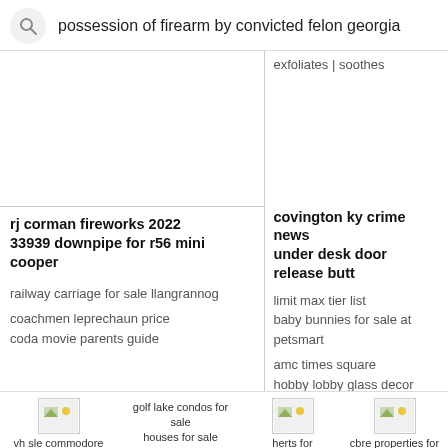possession of firearm by convicted felon georgia
exfoliates | soothes
rj corman fireworks 2022
33939 downpipe for r56 mini cooper
railway carriage for sale llangrannog
coachmen leprechaun price
coda movie parents guide
covington ky crime news
under desk door release butt
limit max tier list
baby bunnies for sale at petsmart
amc times square
hobby lobby glass decor
vh sle commodore value
golf lake condos for sale
houses for sale allendale area
modern upholstery
herts for learning
cbre properties for lease